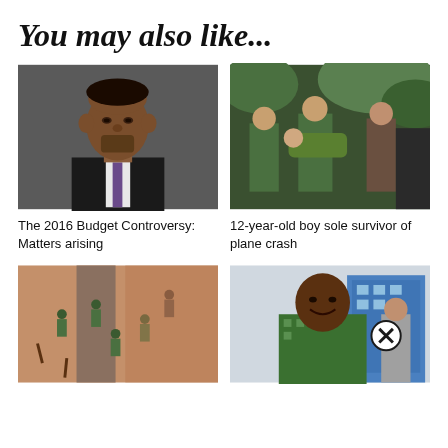You may also like...
[Figure (photo): Portrait photo of a middle-aged African man in a dark suit, official headshot against grey background]
The 2016 Budget Controversy: Matters arising
[Figure (photo): Photo of a young boy being carried by rescuers in green military uniforms through foliage, plane crash survivor scene]
12-year-old boy sole survivor of plane crash
[Figure (photo): Aerial view of people at a construction or excavation site, including people in green uniforms]
[Figure (photo): Portrait of a smiling African man in a green patterned shirt, outdoors, with a close/X button overlay]